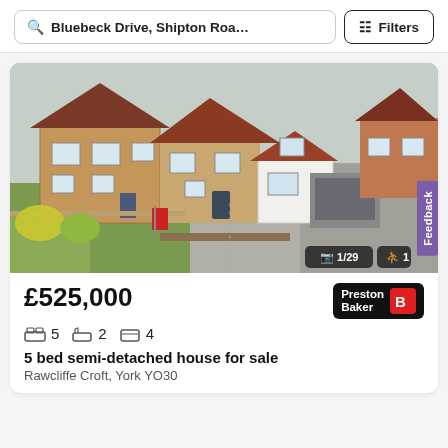Bluebeck Drive, Shipton Roa…   Filters
[Figure (photo): Aerial photo of a 5-bedroom semi-detached brick house with red-tiled roof, white rendered extension, double garage, front garden, and driveway. Photo counter shows 1/29 and floorplan icon shows 1.]
£525,000
[Figure (logo): Preston Baker estate agent logo — black background with red stylised B icon and white text reading Preston Baker]
5  2  4
5 bed semi-detached house for sale
Rawcliffe Croft, York YO30